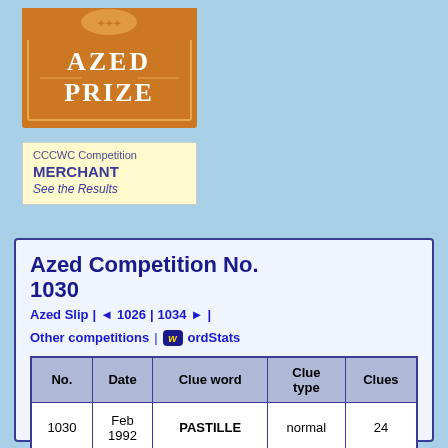[Figure (logo): Azed Prize logo — orange/gold rectangular badge with decorative crest at top and text 'AZED PRIZE' in white lettering on ornate border]
CCCWC Competition
MERCHANT
See the Results
Azed Competition No. 1030
Azed Slip | ◄ 1026 | 1034 ► |
Other competitions | WordStats
| No. | Date | Clue word | Clue type | Clues |
| --- | --- | --- | --- | --- |
| 1030 | Feb 1992 | PASTILLE | normal | 24 |